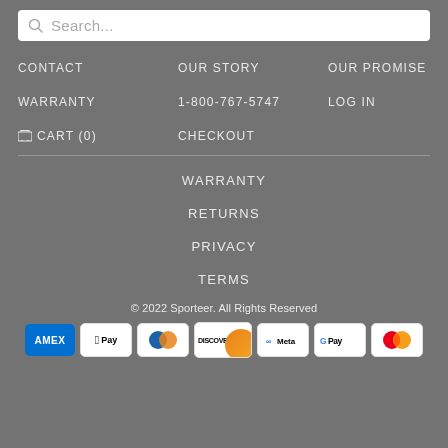Search...
CONTACT
OUR STORY
OUR PROMISE
WARRANTY
1-800-767-5747
LOG IN
CART (0)
CHECKOUT
WARRANTY
RETURNS
PRIVACY
TERMS
© 2022 Sporteer. All Rights Reserved
[Figure (other): Payment method icons: AMEX, Apple Pay, Diners Club, Discover, Meta, Google Pay, Mastercard]